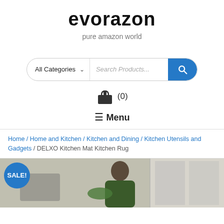evorazon
pure amazon world
[Figure (screenshot): Search bar with 'All Categories' dropdown, 'Search Products...' placeholder, and a blue search button with magnifying glass icon]
[Figure (infographic): Shopping bag icon with cart count (0)]
≡ Menu
Home / Home and Kitchen / Kitchen and Dining / Kitchen Utensils and Gadgets / DELXO Kitchen Mat Kitchen Rug
[Figure (photo): Product image showing a man in a kitchen, with a SALE! badge in blue circle at top left]